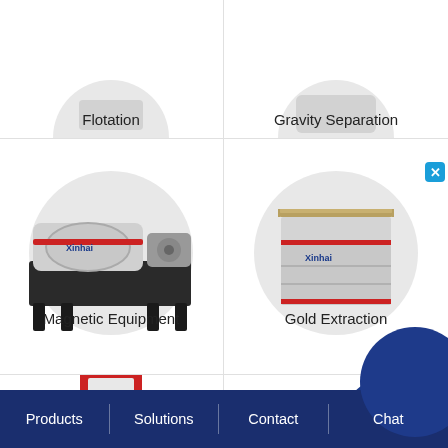[Figure (photo): Partial view of mining flotation equipment in circular frame (top cut off)]
Flotation
[Figure (photo): Partial view of gravity separation equipment in circular frame (top cut off)]
Gravity Separation
[Figure (photo): Xinhai magnetic separator machine shown in circular grey background frame]
Magnetic Equipment
[Figure (photo): Xinhai large cylindrical gold extraction tank shown in circular grey background frame]
Gold Extraction
[Figure (photo): Partial view of red industrial press/filter equipment at bottom left (cut off)]
[Figure (photo): Partial dark blue circle shape at bottom right (cut off)]
Products | Solutions | Contact | Chat